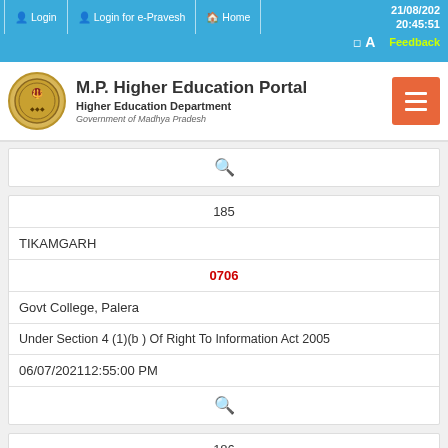Login | Login for e-Pravesh | Home | 21/08/2021 20:45:51 | A | Feedback
[Figure (logo): M.P. Higher Education Portal logo with Government of Madhya Pradesh seal]
M.P. Higher Education Portal
Higher Education Department
Government of Madhya Pradesh
| 185 |
| TIKAMGARH |
| 0706 |
| Govt College, Palera |
| Under Section 4 (1)(b ) Of Right To Information Act 2005 |
| 06/07/202112:55:00 PM |
| (search icon) |
| 186 |
| CHHINDWARA |
| 3601 |